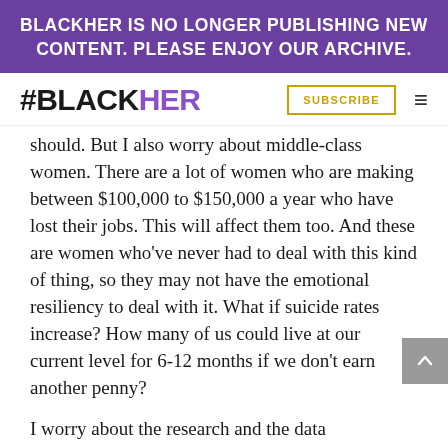BLACKHER IS NO LONGER PUBLISHING NEW CONTENT. PLEASE ENJOY OUR ARCHIVE.
#BLACKHER
should. But I also worry about middle-class women. There are a lot of women who are making between $100,000 to $150,000 a year who have lost their jobs. This will affect them too. And these are women who've never had to deal with this kind of thing, so they may not have the emotional resiliency to deal with it. What if suicide rates increase? How many of us could live at our current level for 6-12 months if we don't earn another penny?
I worry about the research and the data